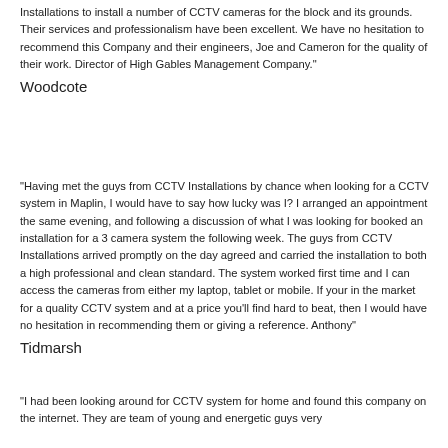Installations to install a number of CCTV cameras for the block and its grounds. Their services and professionalism have been excellent. We have no hesitation to recommend this Company and their engineers, Joe and Cameron for the quality of their work. Director of High Gables Management Company."
Woodcote
"Having met the guys from CCTV Installations by chance when looking for a CCTV system in Maplin, I would have to say how lucky was I? I arranged an appointment the same evening, and following a discussion of what I was looking for booked an installation for a 3 camera system the following week. The guys from CCTV Installations arrived promptly on the day agreed and carried the installation to both a high professional and clean standard. The system worked first time and I can access the cameras from either my laptop, tablet or mobile. If your in the market for a quality CCTV system and at a price you'll find hard to beat, then I would have no hesitation in recommending them or giving a reference. Anthony"
Tidmarsh
"I had been looking around for CCTV system for home and found this company on the internet. They are team of young and energetic guys very